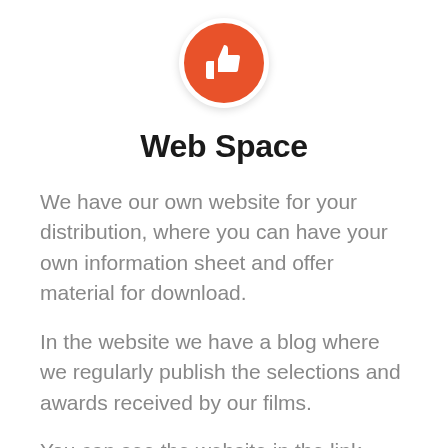[Figure (illustration): Orange circle with white thumbs-up icon]
Web Space
We have our own website for your distribution, where you can have your own information sheet and offer material for download.
In the website we have a blog where we regularly publish the selections and awards received by our films.
You can see the website in the link